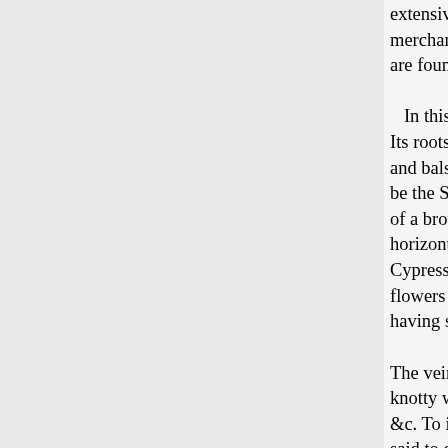extensively worked, renders such merchandise, with which Solomon are found in Africa.

In this tropical climate the Alg Its roots are long, and run deep i and balsamic, sending forth, whe be the Sandarach of commerce, t of a brown color, but as the trees horizontal, the smaller ones ofter Cypress, and overlap each other flowers or catkins are produced d having scales which end in acute

The veins, or the lines of the wo knotty wood were highly esteem &c. To improve the quality of th said to cause it to lose in weight, veined than the root, nor is there wood which "the servants of Hir Solomon employed for the ornan instruments. "And the navy also of almug trees and precious ston terraces,) for the house of the Lo Kings 10:11, 12.) To the questio